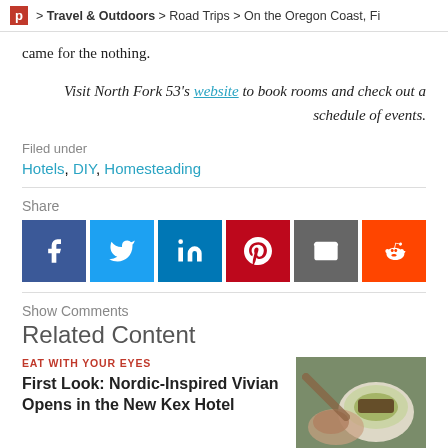P > Travel & Outdoors > Road Trips > On the Oregon Coast, Fi
came for the nothing.
Visit North Fork 53's website to book rooms and check out a schedule of events.
Filed under
Hotels, DIY, Homesteading
Share
[Figure (infographic): Social share buttons: Facebook, Twitter, LinkedIn, Pinterest, Email, Reddit]
Show Comments
Related Content
EAT WITH YOUR EYES
First Look: Nordic-Inspired Vivian Opens in the New Kex Hotel
[Figure (photo): Hands holding a white bowl with a green dish topped with meat and garnish]